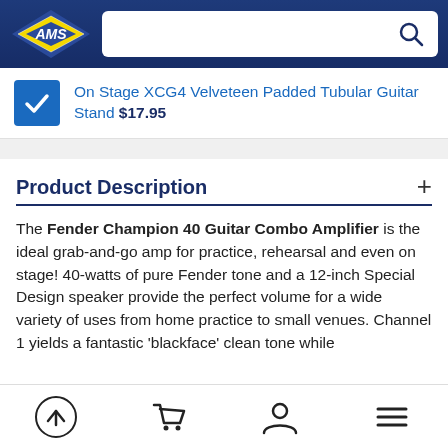AMS logo and search bar
On Stage XCG4 Velveteen Padded Tubular Guitar Stand $17.95
Product Description
The Fender Champion 40 Guitar Combo Amplifier is the ideal grab-and-go amp for practice, rehearsal and even on stage! 40-watts of pure Fender tone and a 12-inch Special Design speaker provide the perfect volume for a wide variety of uses from home practice to small venues. Channel 1 yields a fantastic 'blackface' clean tone while
Navigation icons: scroll-up, cart, user, menu